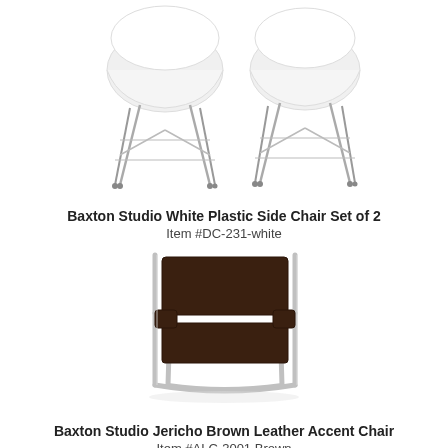[Figure (photo): Two white plastic side chairs with chrome wire legs shown side by side on a white background]
Baxton Studio White Plastic Side Chair Set of 2
Item #DC-231-white
[Figure (photo): A brown leather accent chair with chrome tubular frame in Wassily chair style on a white background]
Baxton Studio Jericho Brown Leather Accent Chair
Item #ALC-3001 Brown